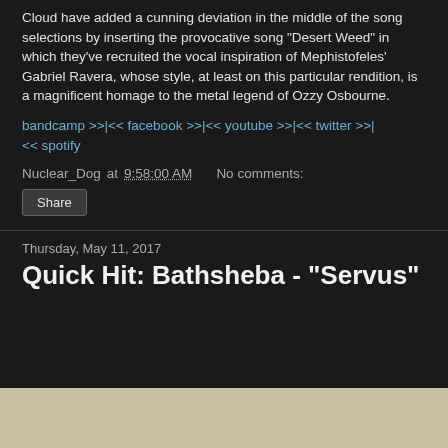Cloud have added a cunning deviation in the middle of the song selections by inserting the provocative song "Desert Weed" in which they've recruited the vocal inspiration of Mephistofeles' Gabriel Ravera, whose style, at least on this particular rendition, is a magnificent homage to the metal legend of Ozzy Osbourne.
bandcamp >>|<< facebook >>|<< youtube >>|<< twitter >>|<< spotify
Nuclear_Dog at 9:58:00 AM   No comments:
Share
Thursday, May 11, 2017
Quick Hit: Bathsheba - "Servus"
[Figure (photo): Beige/tan colored image placeholder at the bottom of the page]